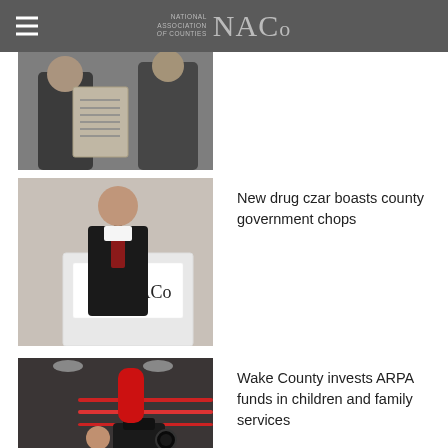NATIONAL ASSOCIATION of COUNTIES NACo
[Figure (photo): Two people, one holding a document/certificate, partial view cropped at top]
[Figure (photo): Man in suit speaking at a podium with NACo National Association of Counties sign]
New drug czar boasts county government chops
[Figure (photo): Woman standing in front of a camera on a tripod in a gym/indoor facility]
Wake County invests ARPA funds in children and family services